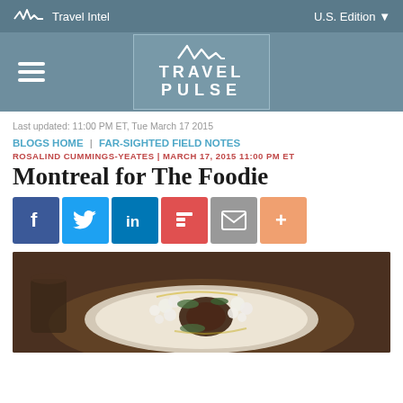Travel Intel | U.S. Edition
[Figure (logo): TravelPulse logo with mountain pulse icon, hamburger menu icon on left]
Last updated: 11:00 PM ET, Tue March 17 2015
BLOGS HOME | FAR-SIGHTED FIELD NOTES
ROSALIND CUMMINGS-YEATES | MARCH 17, 2015 11:00 PM ET
Montreal for The Foodie
[Figure (infographic): Social share buttons: Facebook, Twitter, LinkedIn, Flipboard, Email, More (+)]
[Figure (photo): Food photo showing a plated dish with popcorn, greens, and dark meat/protein on a white plate, warm brown tones]